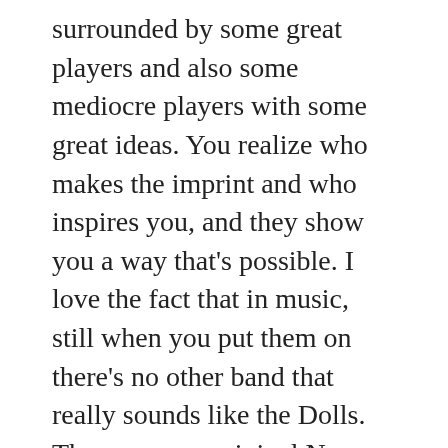surrounded by some great players and also some mediocre players with some great ideas. You realize who makes the imprint and who inspires you, and they show you a way that's possible. I love the fact that in music, still when you put them on there's no other band that really sounds like the Dolls. They were an original New York City band and I love hearing the city in the music. You know Van Halen could never come from anywhere but LA and the Dolls could be only New York. I remember hearing that they actually played at a place that was falling down because the building wasn't cared for. Even though the building fell down it was one of their spots that they would play at all the time. I was thinking that's just the perfect story. No one got hurt and at the same time the place they played actually fell down. The actual rafters cracked and came apart. To me when you put your finger on your favorite band or artist there are one or two that makes an imprint and